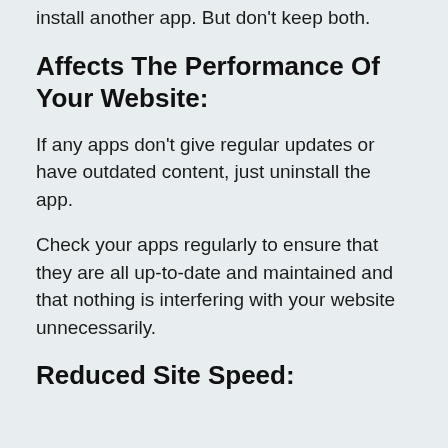if you don't like the app, then uninstall it and install another app. But don't keep both.
Affects The Performance Of Your Website:
If any apps don't give regular updates or have outdated content, just uninstall the app.
Check your apps regularly to ensure that they are all up-to-date and maintained and that nothing is interfering with your website unnecessarily.
Reduced Site Speed: